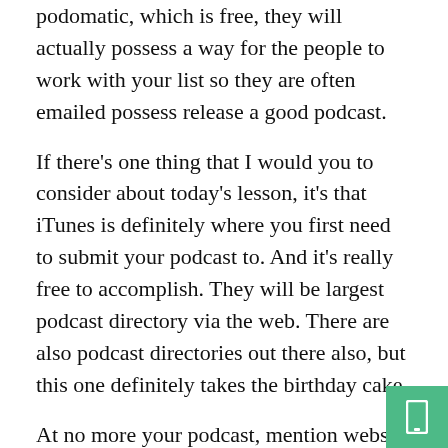podomatic, which is free, they will actually possess a way for the people to work with your list so they are often emailed possess release a good podcast.
If there's one thing that I would you to consider about today's lesson, it's that iTunes is definitely where you first need to submit your podcast to. And it's really free to accomplish. They will be largest podcast directory via the web. There are also podcast directories out there also, but this one definitely takes the birthday cake.
At no more your podcast, mention website running again, and be sure to spell it out again. In case your information is good, people will want to go to your site for lots more information a person. This is where you ought to begin your selling process so you'll be able to turn these visitors into income for your own business.